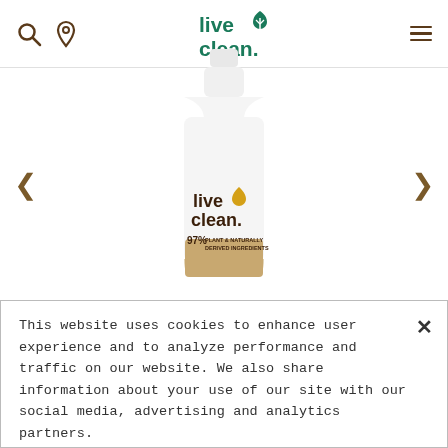Live Clean website header with search, location, logo, and menu icons
[Figure (photo): Live Clean product bottle (pump dispenser) with white body, brown and gold branding showing 'live clean.' logo and '97% PLANT & NATURALLY DERIVED INGREDIENTS' label. Navigation arrows on left and right sides.]
This website uses cookies to enhance user experience and to analyze performance and traffic on our website. We also share information about your use of our site with our social media, advertising and analytics partners.